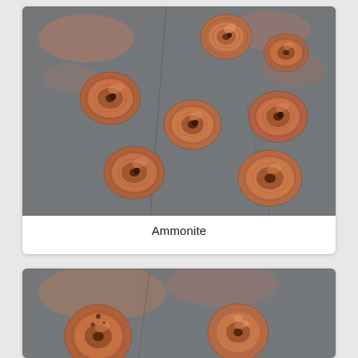[Figure (photo): Several copper-colored ammonite spiral bead charms arranged on a gray stone surface. The beads have a ribbed, coiled shell-like design with a small hole in the center. They are photographed from above on a textured slate background with some orange/pink mineral veining.]
Ammonite
[Figure (photo): Close-up of copper-colored decorative bead charms on a stone surface, partially cropped. The beads have a spiral/coiled design with textured surfaces and small holes.]